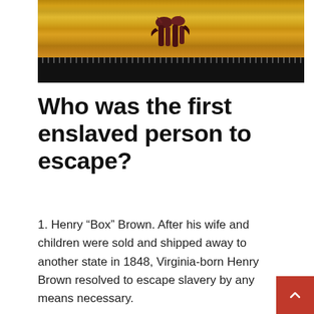[Figure (illustration): Top portion of an illustrated image showing golden wheat/grass field with dark reddish-brown horse legs/figure visible against it, with a black film-strip style band below]
Who was the first enslaved person to escape?
1. Henry “Box” Brown. After his wife and children were sold and shipped away to another state in 1848, Virginia-born Henry Brown resolved to escape slavery by any means necessary.